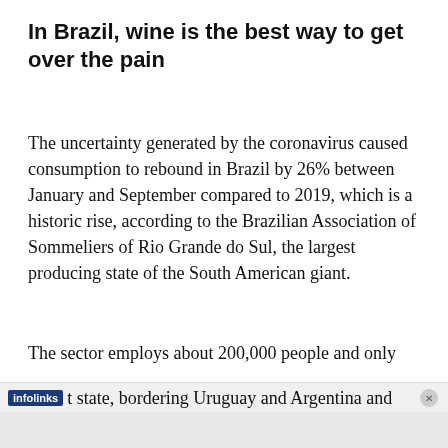In Brazil, wine is the best way to get over the pain
The uncertainty generated by the coronavirus caused consumption to rebound in Brazil by 26% between January and September compared to 2019, which is a historic rise, according to the Brazilian Association of Sommeliers of Rio Grande do Sul, the largest producing state of the South American giant.
The sector employs about 200,000 people and only t state, bordering Uruguay and Argentina and